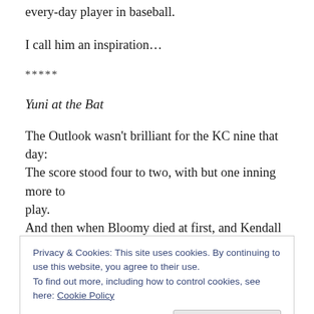every-day player in baseball.
I call him an inspiration…
*****
Yuni at the Bat
The Outlook wasn't brilliant for the KC nine that day:
The score stood four to two, with but one inning more to play.
And then when Bloomy died at first, and Kendall did the same,
Privacy & Cookies: This site uses cookies. By continuing to use this website, you agree to their use.
To find out more, including how to control cookies, see here: Cookie Policy
They thought, if only Yuni could get but a whack at that –